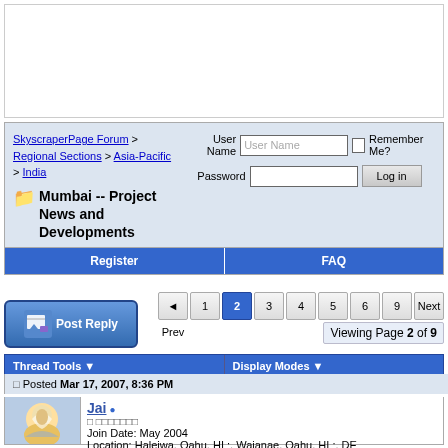[Figure (screenshot): White box area at top of page]
SkyscraperPage Forum > Regional Sections > Asia-Pacific > India  Mumbai -- Project News and Developments
User Name  Remember Me?  Password  Log in
Register  FAQ
◄ Prev  1  2  3  4  5  6  9  Next ►  Viewing Page 2 of 9
[Figure (screenshot): Post Reply button]
Thread Tools ▼   Display Modes ▼
Posted Mar 17, 2007, 8:36 PM
[Figure (photo): User avatar for Jai]
Jai
Join Date: May 2004
Location: Haleiwa, Oahu, HI :. Waianae, Oahu, HI :. DE
Posts: 633